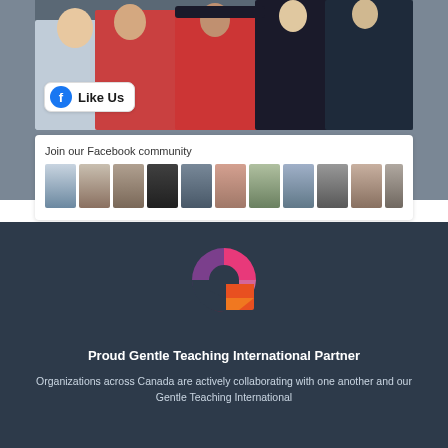[Figure (photo): Group photo showing people in red RCMP uniform and casual clothing]
[Figure (screenshot): Facebook 'Like Us' button with blue Facebook icon]
Join our Facebook community
[Figure (photo): Strip of profile photo thumbnails from Facebook community members]
[Figure (logo): Gentle Teaching International logo - colorful G shape made of geometric segments in pink, red, purple, and orange]
Proud Gentle Teaching International Partner
Organizations across Canada are actively collaborating with one another and our Gentle Teaching International